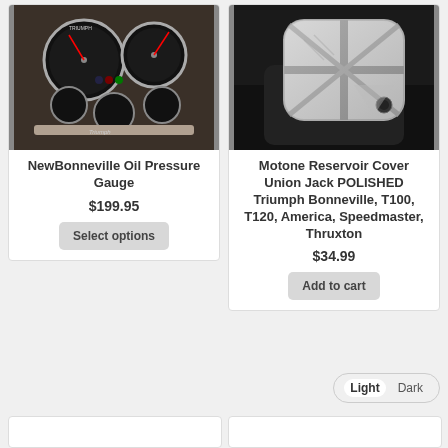[Figure (photo): Triumph motorcycle instrument cluster/dashboard with gauges]
NewBonneville Oil Pressure Gauge
$199.95
Select options
[Figure (photo): Motone Reservoir Cover with Union Jack design, polished chrome finish]
Motone Reservoir Cover Union Jack POLISHED Triumph Bonneville, T100, T120, America, Speedmaster, Thruxton
$34.99
Add to cart